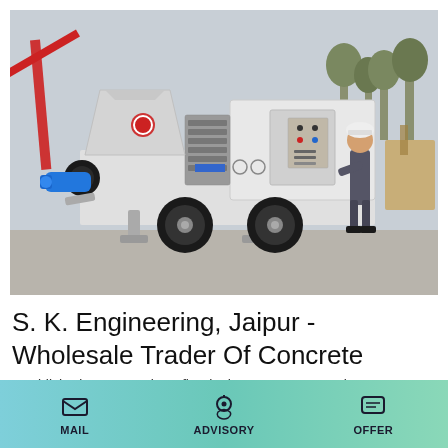[Figure (photo): A concrete pump truck (trailer-mounted) with a blue connector hose outlet on the left side, a hopper on top, large tires, and an open equipment panel on the right. A worker in grey coveralls and a white hard hat is operating the control panel. The background shows a construction yard with a crane and trees.]
S. K. Engineering, Jaipur - Wholesale Trader Of Concrete
Established as a Proprietor firm in the year 2017 at Jaipur (Rajasthan, India), we "S. K. Engineering" are a leading Wholesale Trader of a wide range of Pipe Clamp, Locking
MAIL   ADVISORY   OFFER